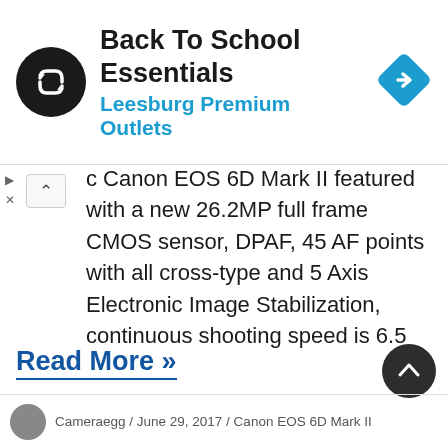[Figure (other): Advertisement banner: Back To School Essentials - Leesburg Premium Outlets, with logo and navigation icon]
c Canon EOS 6D Mark II featured with a new 26.2MP full frame CMOS sensor, DPAF, 45 AF points with all cross-type and 5 Axis Electronic Image Stabilization, continuous shooting speed is 6.5 fps. Also feature with Built-in Wi-Fi, GPS, NFC, Bluetooth. The release date for Canon EOS 6D Mark II is August, 2017.
Read More »
Cameraegg / June 29, 2017 / Canon EOS 6D Mark II